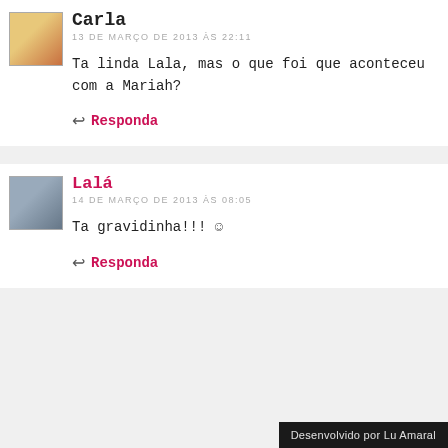Carla
13 DE MARÇO DE 2013 ÀS 22:11
Ta linda Lala, mas o que foi que aconteceu com a Mariah?
Responda
Lalá
14 DE MARÇO DE 2013 ÀS 08:05
Ta gravidinha!!! 🙂
Responda
Desenvolvido por Lu Amaral